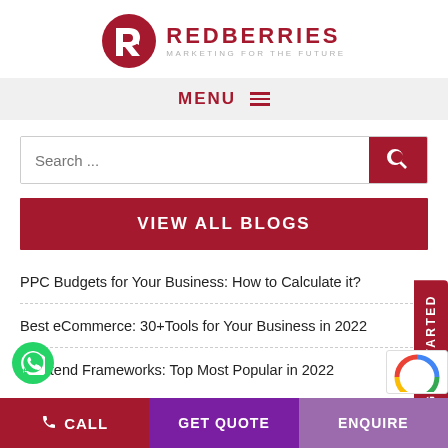[Figure (logo): Redberries Marketing For The Future logo — dark red circle with arrow/letter mark and text REDBERRIES MARKETING FOR THE FUTURE]
MENU ≡
Search ...
VIEW ALL BLOGS
PPC Budgets for Your Business: How to Calculate it?
Best eCommerce: 30+Tools for Your Business in 2022
Frontend Frameworks: Top Most Popular in 2022
GET STARTED
CALL
GET QUOTE
ENQUIRE